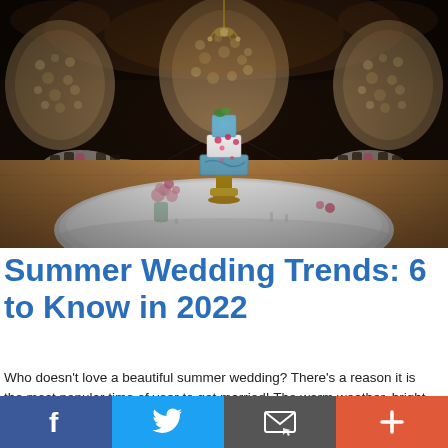[Figure (photo): Wedding reception venue ballroom with a three-tier blue and white decorated wedding cake on a gold pedestal stand on a round white-clothed table in the foreground, pink flower bouquet beside it, ornate floral arch walls in the background, chandeliers, and dining tables with chairs set up throughout the hall.]
Summer Wedding Trends: 6 to Know in 2022
Who doesn't love a beautiful summer wedding? There's a reason it is the most popular time of year to get married! The warm weather, bright